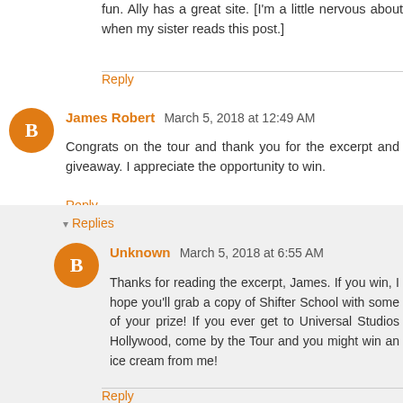fun. Ally has a great site. [I'm a little nervous about when my sister reads this post.]
Reply
James Robert  March 5, 2018 at 12:49 AM
Congrats on the tour and thank you for the excerpt and giveaway. I appreciate the opportunity to win.
Reply
Replies
Unknown  March 5, 2018 at 6:55 AM
Thanks for reading the excerpt, James. If you win, I hope you'll grab a copy of Shifter School with some of your prize! If you ever get to Universal Studios Hollywood, come by the Tour and you might win an ice cream from me!
Reply